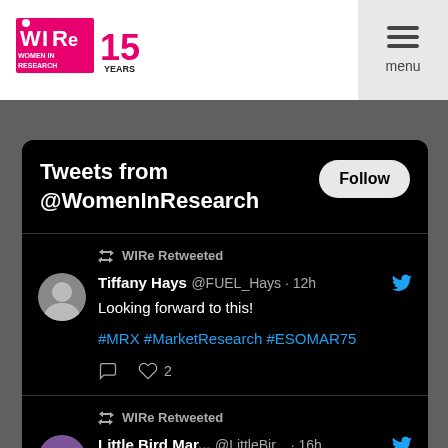[Figure (logo): WIRe Women In Research 15 Years logo in pink and black]
menu
Tweets from @WomenInResearch
Follow
WIRe Retweeted
Tiffany Hays @FUEL_Hays · 12h
Looking forward to this!
#MRX #MarketResearch #ESOMAR75
2
WIRe Retweeted
Little Bird Mar... @LittleBir... · 16h
We're headed back to our favorite city for #InsightsMarketingDay, a one day...